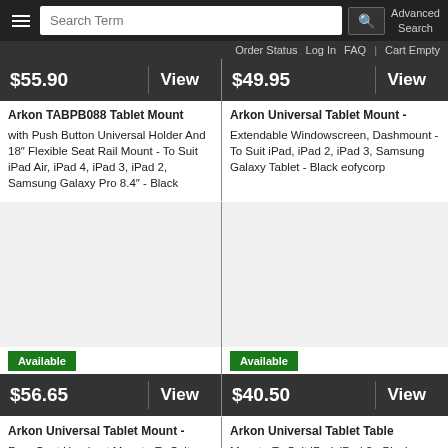Search Term | Advanced Search | Order Status | Log In | FAQ | Cart Empty
$55.90 View
$49.95 View
Arkon TABPB088 Tablet Mount with Push Button Universal Holder And 18" Flexible Seat Rail Mount - To Suit iPad Air, iPad 4, iPad 3, iPad 2, Samsung Galaxy Pro 8.4" - Black
Arkon Universal Tablet Mount - Extendable Windowscreen, Dashmount - To Suit iPad, iPad 2, iPad 3, Samsung Galaxy Tablet - Black eofycorp
[Figure (photo): Product image placeholder - Arkon Universal Tablet Mount Rear Seat Headrest]
[Figure (photo): Product image placeholder - Arkon Universal Tablet Table Mount]
Available $56.65 View
Available $40.50 View
Arkon Universal Tablet Mount - Rear Seat Headrest Mount - To Suit iPad, Samsung Galaxy Tab, Tablet PC - Black
Arkon Universal Tablet Table Mount - To Suit iPad, iPad 2 - Black